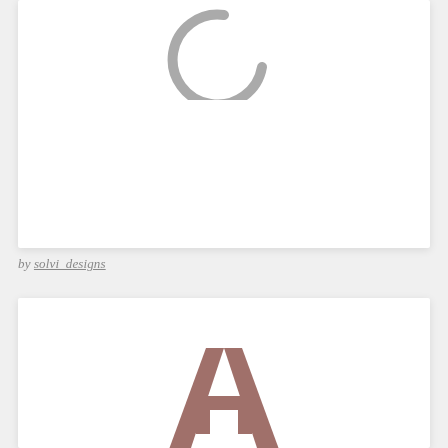[Figure (logo): Partial circular spinner/loading icon in gray, cropped at top]
by solvi_designs
[Figure (logo): Stylized letter A logo mark in brownish-rose color, partially visible at bottom of page]